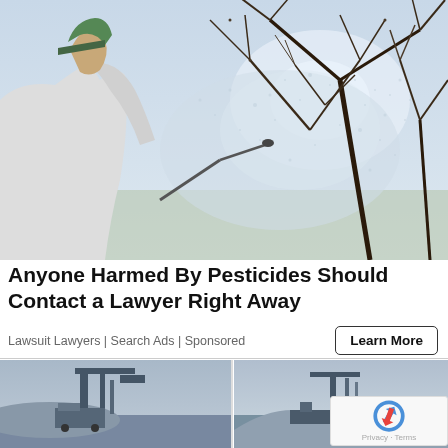[Figure (photo): Person viewed from behind wearing a white shirt and cap, spraying pesticide on bare tree branches with a hose nozzle. Mist/spray visible in the air.]
Anyone Harmed By Pesticides Should Contact a Lawyer Right Away
Lawsuit Lawyers | Search Ads | Sponsored
[Figure (photo): Two photos side by side of industrial port/harbor scenes with cranes and machinery. A reCAPTCHA badge is visible in the bottom right corner with Privacy and Terms links.]